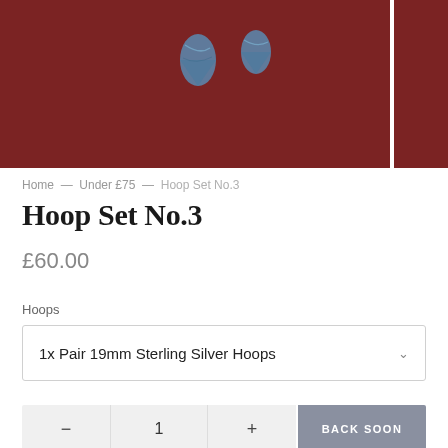[Figure (photo): Product photo of teardrop-shaped earrings with blue marbled pattern on a dark red/maroon background. Two earrings visible on the main photo area, partial third earring visible on the right strip.]
Home — Under £75 — Hoop Set No.3
Hoop Set No.3
£60.00
Hoops
1x Pair 19mm Sterling Silver Hoops
— 1 + BACK SOON